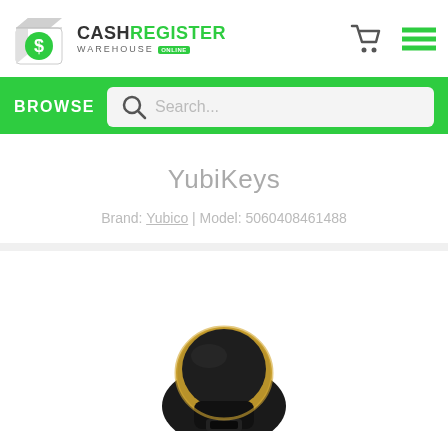CashRegister Warehouse Online
BROWSE
YubiKeys
Brand: Yubico | Model: 5060408461488
[Figure (photo): Close-up photo of a YubiKey security device with black and gold coloring, bottom portion visible]